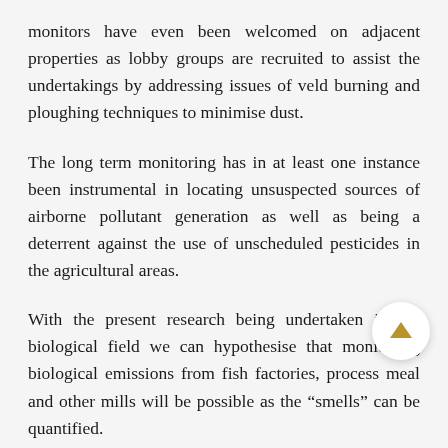monitors have even been welcomed on adjacent properties as lobby groups are recruited to assist the undertakings by addressing issues of veld burning and ploughing techniques to minimise dust.
The long term monitoring has in at least one instance been instrumental in locating unsuspected sources of airborne pollutant generation as well as being a deterrent against the use of unscheduled pesticides in the agricultural areas.
With the present research being undertaken in the biological field we can hypothesise that monitoring biological emissions from fish factories, process meal and other mills will be possible as the “smells” can be quantified.